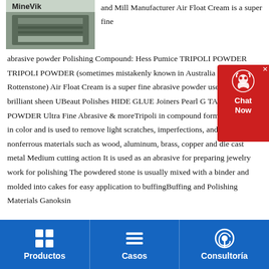[Figure (photo): Partial photo of industrial machinery with MineVik branding visible at top]
and Mill Manufacturer Air Float Cream is a super fine abrasive powder Polishing Compound: Hess Pumice TRIPOLI POWDER TRIPOLI POWDER (sometimes mistakenly known in Australia as Rottenstone) Air Float Cream is a super fine abrasive powder used to impart a brilliant sheen UBeaut Polishes HIDE GLUE Joiners Pearl G TALCUM POWDER Ultra Fine Abrasive & moreTripoli in compound form is red/brown in color and is used to remove light scratches, imperfections, and oxidation on nonferrous materials such as wood, aluminum, brass, copper and die cast metal Medium cutting action It is used as an abrasive for preparing jewelry work for polishing The powdered stone is usually mixed with a binder and molded into cakes for easy application to buffingBuffing and Polishing Materials Ganoksin
[Figure (other): Chat Now customer support widget with red background and headset icon]
Productos   Casos   Consultoría